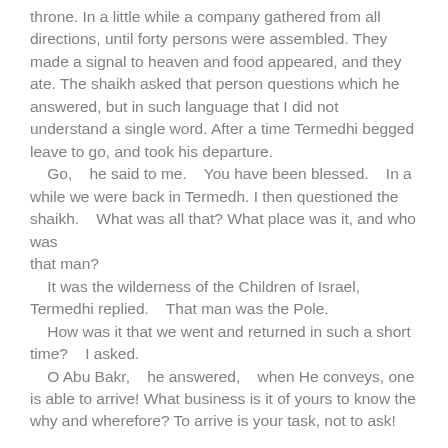throne. In a little while a company gathered from all directions, until forty persons were assembled. They made a signal to heaven and food appeared, and they ate. The shaikh asked that person questions which he answered, but in such language that I did not understand a single word. After a time Termedhi begged leave to go, and took his departure.
    Go,    he said to me.    You have been blessed.     In a while we were back in Termedh. I then questioned the shaikh.     What was all that? What place was it, and who was that man?
    It was the wilderness of the Children of Israel, Termedhi replied.     That man was the Pole.
    How was it that we went and returned in such a short time?    I asked.
    O Abu Bakr,    he answered,    when He conveys, one is able to arrive! What business is it of yours to know the why and wherefore? To arrive is your task, not to ask!